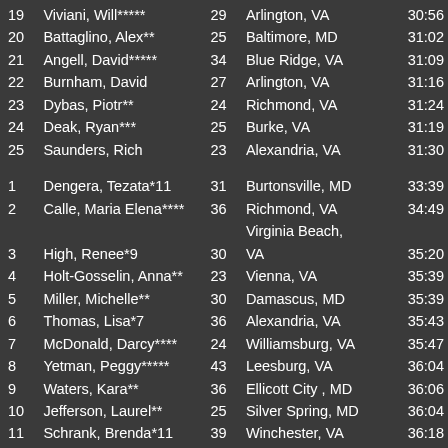| Place | Name | Age | City | Time |
| --- | --- | --- | --- | --- |
| 19 | Viviani, Will***** | 29 | Arlington, VA | 30:56 |
| 20 | Battaglino, Alex** | 25 | Baltimore, MD | 31:02 |
| 21 | Angell, David***** | 34 | Blue Ridge, VA | 31:09 |
| 22 | Burnham, David | 27 | Arlington, VA | 31:16 |
| 23 | Dybas, Piotr** | 24 | Richmond, VA | 31:24 |
| 24 | Deak, Ryan*** | 25 | Burke, VA | 31:19 |
| 25 | Saunders, Rich | 23 | Alexandria, VA | 31:30 |
| 1 | Dengera, Tezata*11 | 31 | Burtonsville, MD | 33:39 |
| 2 | Calle, Maria Elena**** | 36 | Richmond, VA | 34:49 |
| 3 | High, Renee*9 | 30 | Virginia Beach, VA | 35:20 |
| 4 | Holt-Gosselin, Anna** | 23 | Vienna, VA | 35:39 |
| 5 | Miller, Michelle** | 30 | Damascus, MD | 35:39 |
| 6 | Thomas, Lisa*7 | 36 | Alexandria, VA | 35:43 |
| 7 | McDonald, Darcy**** | 24 | Williamsburg, VA | 35:47 |
| 8 | Yetman, Peggy***** | 43 | Leesburg, VA | 36:04 |
| 9 | Waters, Kara** | 36 | Ellicott City , MD | 36:06 |
| 10 | Jefferson, Laurel** | 25 | Silver Spring, MD | 36:04 |
| 11 | Schrank, Brenda*11 | 39 | Winchester, VA | 36:18 |
| 12 | Wilkins, Lindsay | 33 | Arlington, VA | 36:28 |
| 13 | Ford, Sallie** | 24 | Charlottesville, VA | 36:27 |